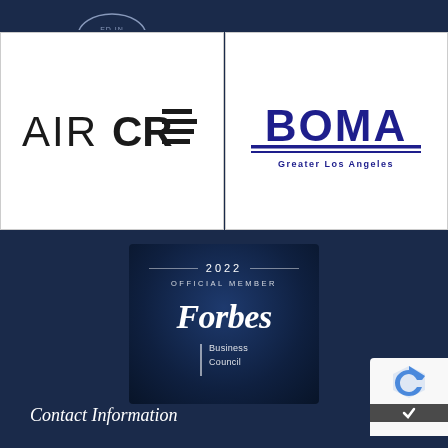[Figure (logo): Partial logo visible at top left (partially cropped from page above)]
[Figure (logo): AIRCRE logo - AIR in thin weight, CRE in bold with horizontal lines]
[Figure (logo): BOMA Greater Los Angeles logo in dark blue/navy]
[Figure (logo): Forbes Business Council 2022 Official Member badge on dark blue background]
Contact Information